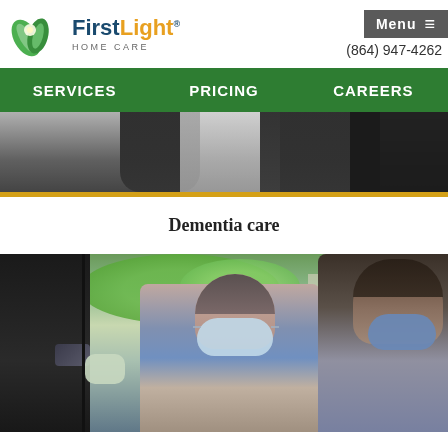[Figure (logo): FirstLight Home Care logo with green leaf icon and brand name]
Menu ≡
(864) 947-4262
SERVICES  PRICING  CAREERS
[Figure (photo): Close-up photo of a person wearing a black jacket, top portion of body visible]
Dementia care
[Figure (photo): Photo of an elderly woman wearing a face mask being helped out of a car by a caregiver also wearing a face mask]